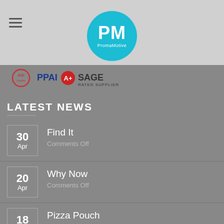PromaMotive — PM logo header with hamburger menu
[Figure (logo): ASI, PPAI, A+, SAGE Rated Supplier logos bar]
LATEST NEWS
30 Apr — Find It — Comments Off
20 Apr — Why Now — Comments Off
18 Mar — Pizza Pouch — Comments Off
11 — Weird Works Well